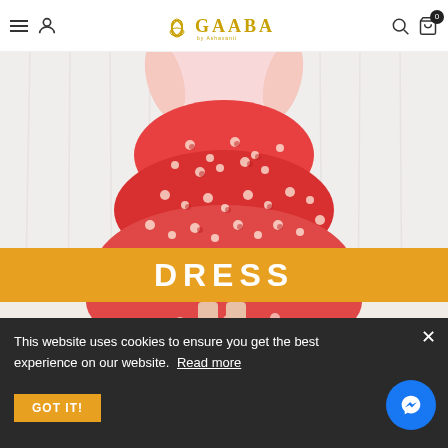GAABA — Navigation header with hamburger menu, user icon, logo, search icon, cart (0)
[Figure (photo): Woman wearing a red and white floral tiered midi dress, photographed in front of white curtains with green plants visible at lower left. A golden banner overlay reads DRESS.]
DRESS
This website uses cookies to ensure you get the best experience on our website. Read more
GOT IT!